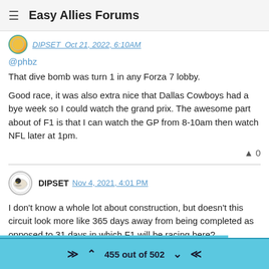Easy Allies Forums
DIPSET Oct 21, 2022, 6:00 PM
@phbz
That dive bomb was turn 1 in any Forza 7 lobby.
Good race, it was also extra nice that Dallas Cowboys had a bye week so I could watch the grand prix. The awesome part about of F1 is that I can watch the GP from 8-10am then watch NFL later at 1pm.
▲ 0
DIPSET Nov 4, 2021, 4:01 PM
I don't know a whole lot about construction, but doesn't this circuit look more like 365 days away from being completed as opposed to 31 days in which F1 will be racing here?
Youtube Video
455 out of 502